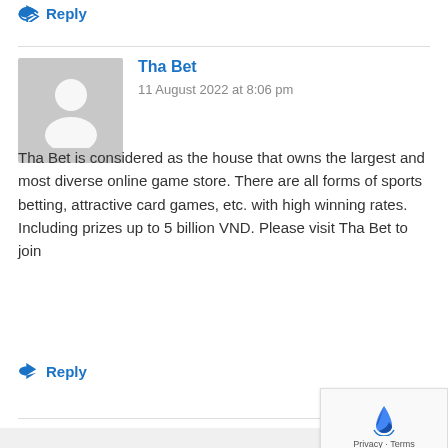↩ Reply
Tha Bet
11 August 2022 at 8:06 pm
Tha Bet is considered as the house that owns the largest and most diverse online game store. There are all forms of sports betting, attractive card games, etc. with high winning rates. Including prizes up to 5 billion VND. Please visit Tha Bet to join
↩ Reply